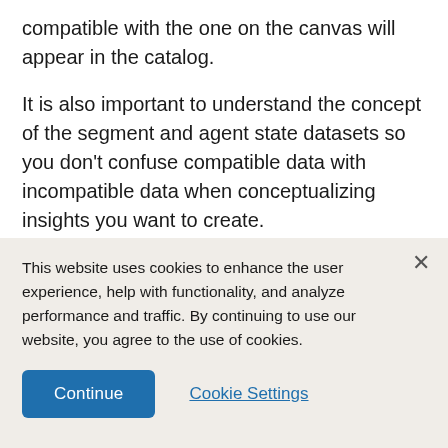compatible with the one on the canvas will appear in the catalog.
It is also important to understand the concept of the segment and agent state datasets so you don't confuse compatible data with incompatible data when conceptualizing insights you want to create.
Segment
This website uses cookies to enhance the user experience, help with functionality, and analyze performance and traffic. By continuing to use our website, you agree to the use of cookies.